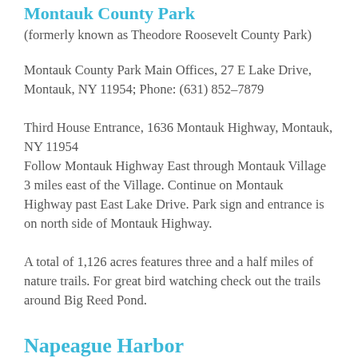Montauk County Park (formerly known as Theodore Roosevelt County Park)
Montauk County Park Main Offices, 27 E Lake Drive, Montauk, NY 11954; Phone: (631) 852–7879
Third House Entrance, 1636 Montauk Highway, Montauk, NY 11954
Follow Montauk Highway East through Montauk Village 3 miles east of the Village. Continue on Montauk Highway past East Lake Drive. Park sign and entrance is on north side of Montauk Highway.
A total of 1,126 acres features three and a half miles of nature trails. For great bird watching check out the trails around Big Reed Pond.
Napeague Harbor
East Hampton, NY